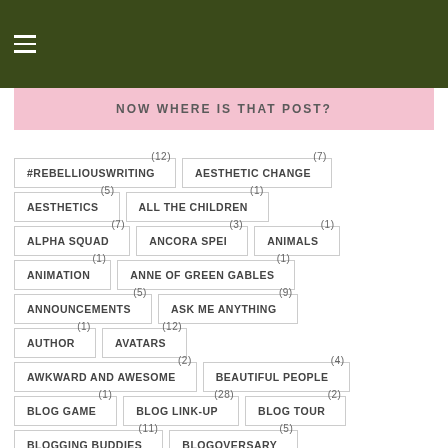≡
NOW WHERE IS THAT POST?
#REBELLIOUSWRITING (12)
AESTHETIC CHANGE (7)
AESTHETICS (5)
ALL THE CHILDREN (1)
ALPHA SQUAD (7)
ANCORA SPEI (3)
ANIMALS (1)
ANIMATION (1)
ANNE OF GREEN GABLES (1)
ANNOUNCEMENTS (5)
ASK ME ANYTHING (9)
AUTHOR (1)
AVATARS (12)
AWKWARD AND AWESOME (2)
BEAUTIFUL PEOPLE (4)
BLOG GAME (1)
BLOG LINK-UP (28)
BLOG TOUR (2)
BLOGGING BUDDIES (11)
BLOGOVERSARY (5)
BOOK DRAGON'S LIBRARY STASH (13)
BOOKS (19)
BREAKING BARRIERS (4)
CAMP LOG 2018 (9)